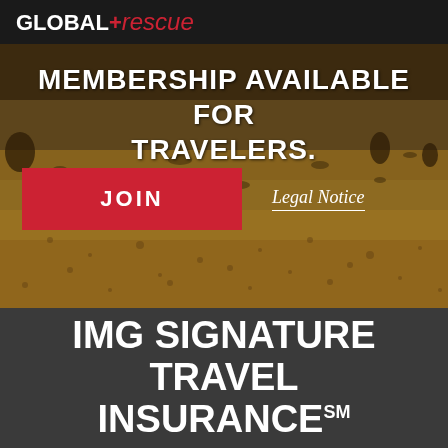[Figure (photo): Global Rescue logo on dark header bar above a desert landscape hero image with text overlay reading MEMBERSHIP AVAILABLE FOR TRAVELERS., a red JOIN button, and a Legal Notice link]
IMG SIGNATURE TRAVEL INSURANCESM